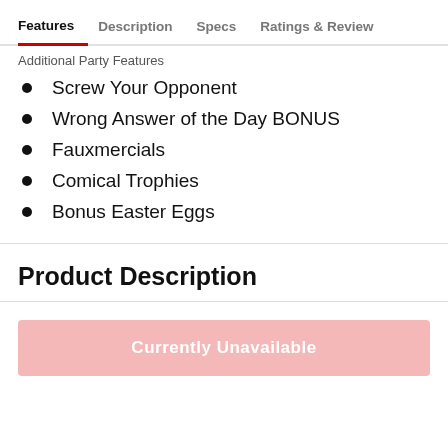Features   Description   Specs   Ratings & Reviews
Additional Party Features
Screw Your Opponent
Wrong Answer of the Day BONUS
Fauxmercials
Comical Trophies
Bonus Easter Eggs
Product Description
Currently Unavailable